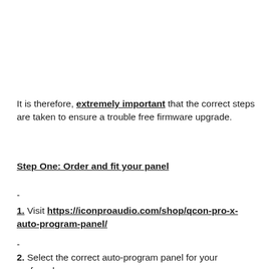It is therefore, extremely important that the correct steps are taken to ensure a trouble free firmware upgrade.
Step One: Order and fit your panel
-
1. Visit https://iconproaudio.com/shop/qcon-pro-x-auto-program-panel/
-
2. Select the correct auto-program panel for your preferred